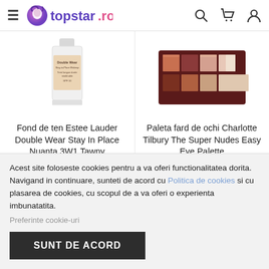topstar.ro
[Figure (photo): Estee Lauder Double Wear Stay-in-Place Makeup foundation bottle in beige/tan color]
[Figure (photo): Charlotte Tilbury The Super Nudes Easy Eye Palette - eyeshadow palette with multiple nude shades]
Fond de ten Estee Lauder Double Wear Stay In Place Nuanta 3W1 Tawny
Paleta fard de ochi Charlotte Tilbury The Super Nudes Easy Eye Palette
FOND DE TEN
TRUSE MACHIAJ / FARD / GLITTER
Fond de ten Estee Lauder Double Wear Stay In Place Nuanta 3W1
Paleta fard de ochi Charlotte Tilbury The Super Nudes Easy Eye
Acest site foloseste cookies pentru a va oferi functionalitatea dorita. Navigand in continuare, sunteti de acord cu Politica de cookies si cu plasarea de cookies, cu scopul de a va oferi o experienta imbunatatita.
Preferinte cookie-uri
SUNT DE ACORD